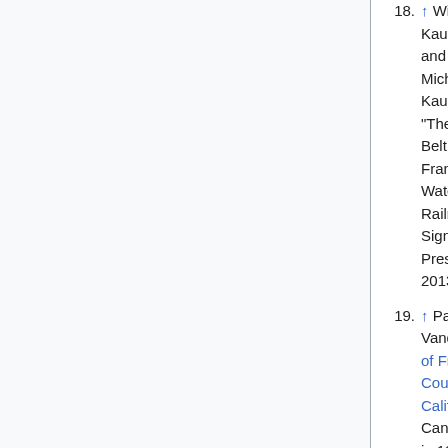18. ↑ William Kaufman and Michelle Kaufman: "The State Belt: San Francisco's Waterfront Railroad". Signature Press, 2013.
19. ↑ Paul E. Vandor, History of Fresno County, California [external link]. Cannery built in 1911. Superintendent in 1913 was Warren G. Nash.
20. ↑ Libby McNeil & Libby cannery [external link]. Historical marker placed by E Clampus Vitus, Jim Savage Chapter. "On this 6 1/4 acre site, Libby, McNeill and Libby opened the San Joaquin Valley's largest cannery on July 18, 1911, less than four hectic months after the site was acquired and construction plans